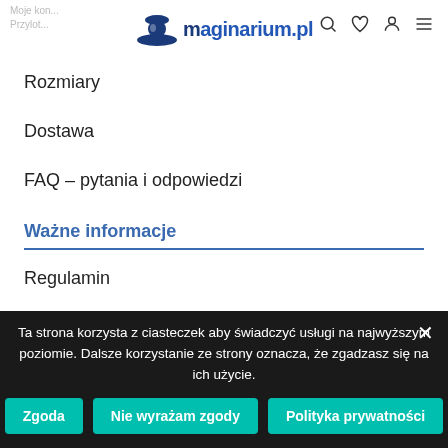Moje konto | Przylot... | maginarium.pl
Rozmiary
Dostawa
FAQ – pytania i odpowiedzi
Ważne informacje
Regulamin
Polityka prywatności
We use cookies on our website to give you the most
Ta strona korzysta z ciasteczek aby świadczyć usługi na najwyższym poziomie. Dalsze korzystanie ze strony oznacza, że zgadzasz się na ich użycie.